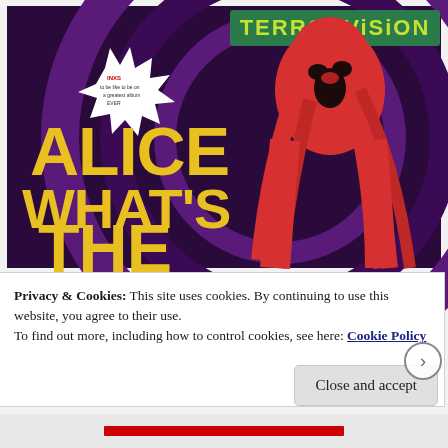[Figure (photo): Album cover of Terrorvision 'Alice What's The...' single. Purple swirling background with a red graphic of a person with long hair throwing head back. Yellow bold text reads 'ALICE WHAT'S THE' and green banner at top reads 'TERRORVISION'. A starburst badge is visible on the left.]
Privacy & Cookies: This site uses cookies. By continuing to use this website, you agree to their use.
To find out more, including how to control cookies, see here: Cookie Policy